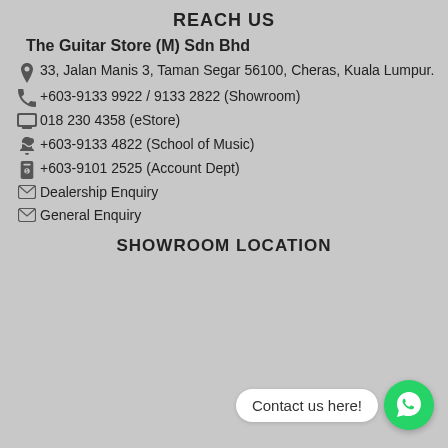REACH US
The Guitar Store (M) Sdn Bhd
33, Jalan Manis 3, Taman Segar 56100, Cheras, Kuala Lumpur.
+603-9133 9922 / 9133 2822 (Showroom)
018 230 4358 (eStore)
+603-9133 4822 (School of Music)
+603-9101 2525 (Account Dept)
Dealership Enquiry
General Enquiry
SHOWROOM LOCATION
Contact us here!